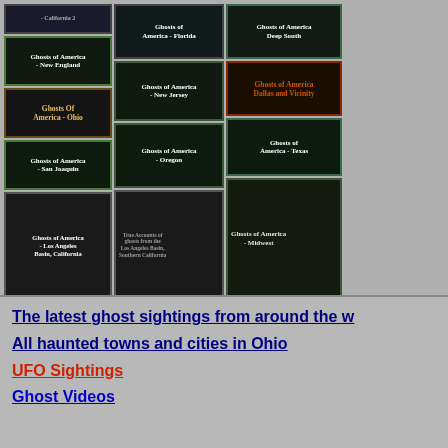[Figure (illustration): Grid of ghost book cover thumbnails including: Ghosts of America - California 2, Ghosts of America - New England, Ghosts of America - Florida, Ghosts of America Deep South, Ghosts Of America - Ohio, Ghosts of America - Dallas and Vicinity, Ghosts of America - San Joaquin, Ghosts of America - New Jersey, Ghosts of America - Texas, Ghosts of America - Los Angeles Basin California, Ghosts of America - Oregon, Ghosts of America - Midwest]
The latest ghost sightings from around the w
All haunted towns and cities in Ohio
UFO Sightings
Ghost Videos